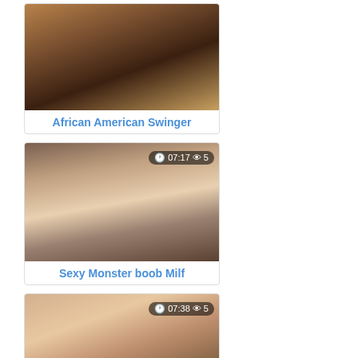[Figure (photo): Thumbnail image with title African American Swinger]
African American Swinger
[Figure (photo): Thumbnail image with badge 07:17 and view count 5, title Sexy Monster boob Milf]
Sexy Monster boob Milf
[Figure (photo): Thumbnail image with badge 07:38 and view count 5, partial card at bottom]